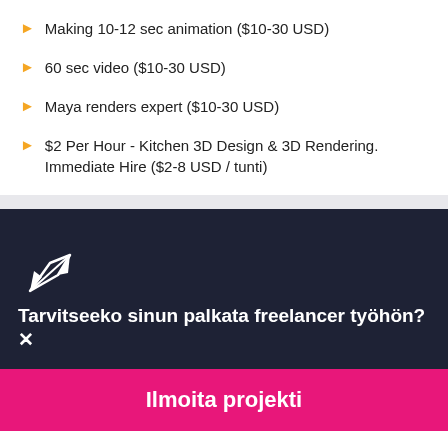Making 10-12 sec animation ($10-30 USD)
60 sec video ($10-30 USD)
Maya renders expert ($10-30 USD)
$2 Per Hour - Kitchen 3D Design & 3D Rendering. Immediate Hire ($2-8 USD / tunti)
[Figure (logo): Freelancer hummingbird logo in white on dark navy background]
Tarvitseeko sinun palkata freelancer työhön?
Ilmoita projekti